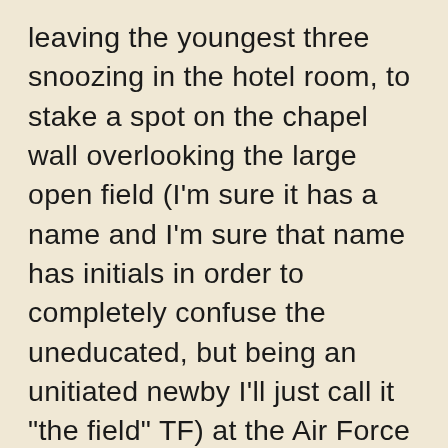leaving the youngest three snoozing in the hotel room, to stake a spot on the chapel wall overlooking the large open field (I'm sure it has a name and I'm sure that name has initials in order to completely confuse the uneducated, but being an unitiated newby I'll just call it "the field" TF) at the Air Force Academy.  We sat and did our Bible studies from 6:30 am (yes, we got a good spot!) until the new basic cadet action started around 8:00.  We were quite far, but that didn't stop me from popping my eyes out of my head trying to locate Zach through my zoom lens of the